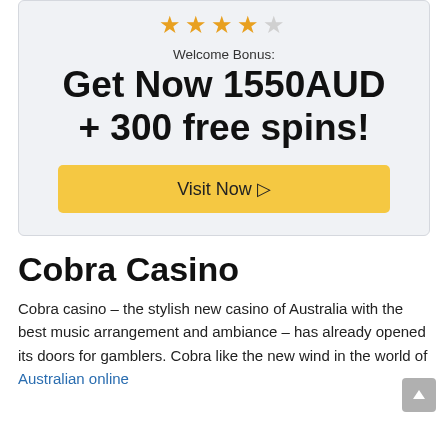[Figure (other): Star rating: 4 out of 5 orange stars]
Welcome Bonus:
Get Now 1550AUD + 300 free spins!
[Figure (other): Yellow button: Visit Now ▷]
Cobra Casino
Cobra casino – the stylish new casino of Australia with the best music arrangement and ambiance – has already opened its doors for gamblers. Cobra like the new wind in the world of Australian online